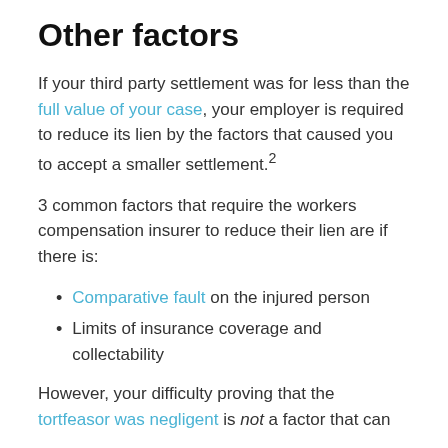Other factors
If your third party settlement was for less than the full value of your case, your employer is required to reduce its lien by the factors that caused you to accept a smaller settlement.²
3 common factors that require the workers compensation insurer to reduce their lien are if there is:
Comparative fault on the injured person
Limits of insurance coverage and collectability
However, your difficulty proving that the tortfeasor was negligent is not a factor that can...